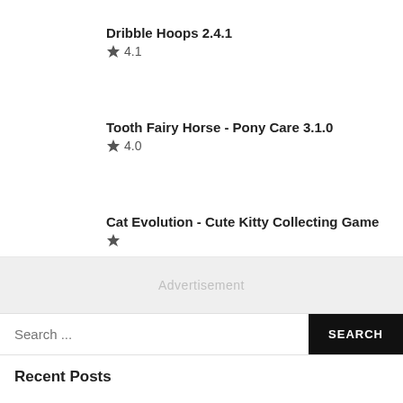Dribble Hoops 2.4.1 ★ 4.1
Tooth Fairy Horse - Pony Care 3.1.0 ★ 4.0
Cat Evolution - Cute Kitty Collecting Game ★
Advertisement
Search ...
Recent Posts